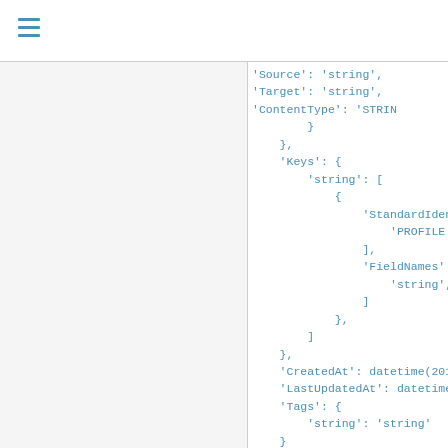'Source': 'string',
'Target': 'string',
'ContentType': 'STRIN
}
},
'Keys': {
    'string': [
        {
            'StandardIdentifi
                'PROFILE'|'UN
            ],
            'FieldNames': [
                'string',
            ]
        },
    ]
},
'CreatedAt': datetime(2015, 1
'LastUpdatedAt': datetime(201
'Tags': {
    'string': 'string'
}